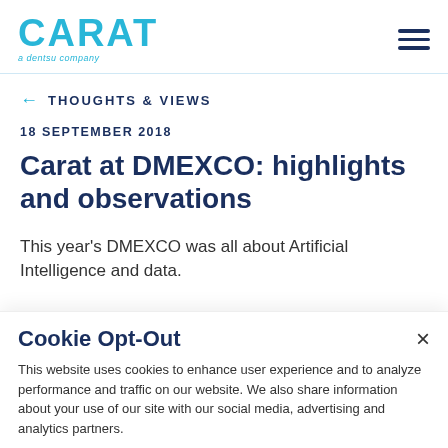CARAT a dentsu company
← THOUGHTS & VIEWS
18 SEPTEMBER 2018
Carat at DMEXCO: highlights and observations
This year's DMEXCO was all about Artificial Intelligence and data.
Cookie Opt-Out
This website uses cookies to enhance user experience and to analyze performance and traffic on our website. We also share information about your use of our site with our social media, advertising and analytics partners.